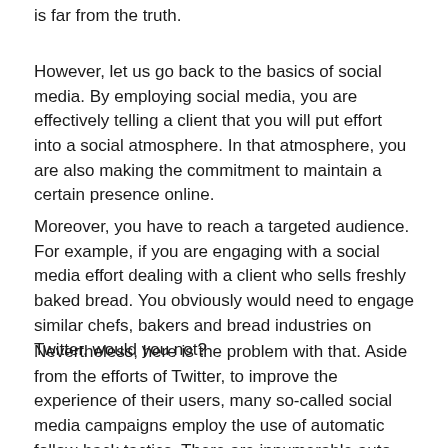is far from the truth.
However, let us go back to the basics of social media. By employing social media, you are effectively telling a client that you will put effort into a social atmosphere. In that atmosphere, you are also making the commitment to maintain a certain presence online.
Moreover, you have to reach a targeted audience. For example, if you are engaging with a social media effort dealing with a client who sells freshly baked bread. You obviously would need to engage similar chefs, bakers and bread industries on Twitter, would you not?
Nevertheless, here is the problem with that. Aside from the efforts of Twitter, to improve the experience of their users, many so-called social media campaigns employ the use of automatic follow-back tactics. There are innumerable auto-